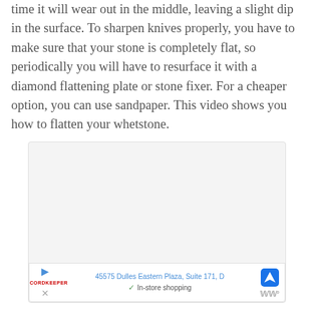time it will wear out in the middle, leaving a slight dip in the surface. To sharpen knives properly, you have to make sure that your stone is completely flat, so periodically you will have to resurface it with a diamond flattening plate or stone fixer. For a cheaper option, you can use sandpaper. This video shows you how to flatten your whetstone.
[Figure (screenshot): A light gray image/video placeholder area with three navigation dots at the bottom center, and an advertisement bar at the bottom showing an address '45575 Dulles Eastern Plaza, Suite 171, D', a play button, a RecordKeeper logo, a navigation arrow icon, and 'In-store shopping' text with a checkmark.]